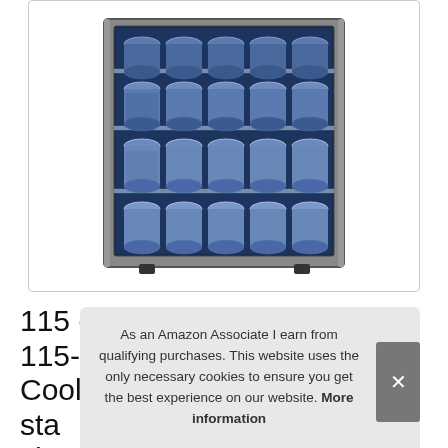[Figure (photo): A beverage cooler/refrigerator with glass door, stainless steel frame, filled with multiple rows of silver/blue cans on glass shelves, illuminated with blue LED lighting inside.]
115 cans capacity, comfee 115-120 Can Beverage Cooler/Refrigerator me... sta... sh...
As an Amazon Associate I earn from qualifying purchases. This website uses the only necessary cookies to ensure you get the best experience on our website. More information